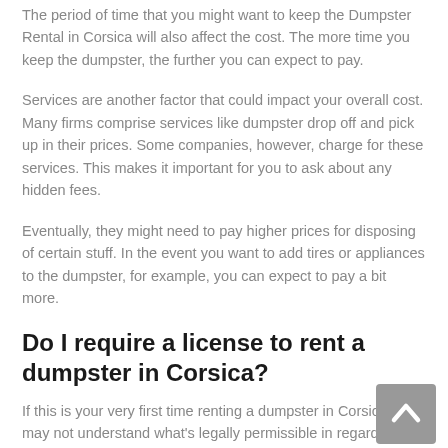The period of time that you might want to keep the Dumpster Rental in Corsica will also affect the cost. The more time you keep the dumpster, the further you can expect to pay.
Services are another factor that could impact your overall cost. Many firms comprise services like dumpster drop off and pick up in their prices. Some companies, however, charge for these services. This makes it important for you to ask about any hidden fees.
Eventually, they might need to pay higher prices for disposing of certain stuff. In the event you want to add tires or appliances to the dumpster, for example, you can expect to pay a bit more.
Do I require a license to rent a dumpster in Corsica?
If this is your very first time renting a dumpster in Corsica, you may not understand what's legally permissible in regards to the